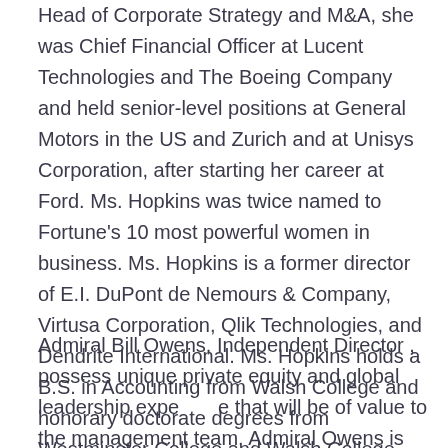Head of Corporate Strategy and M&A, she was Chief Financial Officer at Lucent Technologies and The Boeing Company and held senior-level positions at General Motors in the US and Zurich and at Unisys Corporation, after starting her career at Ford. Ms. Hopkins was twice named to Fortune's 10 most powerful women in business. Ms. Hopkins is a former director of E.I. DuPont de Nemours & Company, Virtusa Corporation, Qlik Technologies, and Dendrite International. Ms. Hopkins holds a B.S. in Accounting from Walsh College and honorary doctorate degrees from Westminster College and Walsh College.
Admiral Bill Owens, Independent Director , possess unique private equity and global leadership experience that will be of value to the management team. Admiral Owens is the former Vice Chairman of the Joint Chiefs